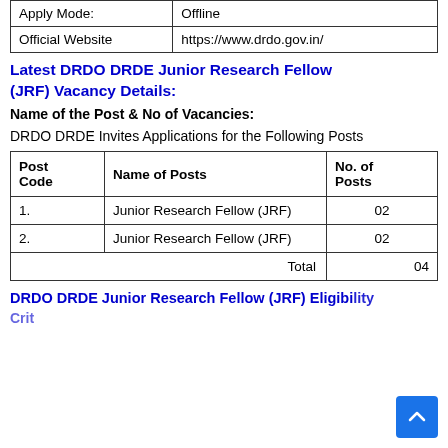| Apply Mode: | Official Website |
| --- | --- |
| Apply Mode: | Offline |
| Official Website | https://www.drdo.gov.in/ |
Latest DRDO DRDE Junior Research Fellow (JRF) Vacancy Details:
Name of the Post & No of Vacancies:
DRDO DRDE Invites Applications for the Following Posts
| Post Code | Name of Posts | No. of Posts |
| --- | --- | --- |
| 1. | Junior Research Fellow (JRF) | 02 |
| 2. | Junior Research Fellow (JRF) | 02 |
|  | Total | 04 |
DRDO DRDE Junior Research Fellow (JRF) Eligibility Criteria: